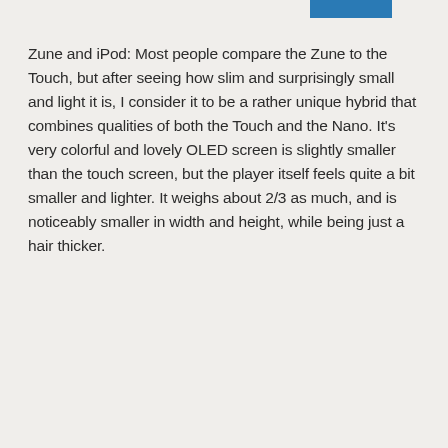[Figure (other): Blue horizontal bar graphic at top of page]
Zune and iPod: Most people compare the Zune to the Touch, but after seeing how slim and surprisingly small and light it is, I consider it to be a rather unique hybrid that combines qualities of both the Touch and the Nano. It's very colorful and lovely OLED screen is slightly smaller than the touch screen, but the player itself feels quite a bit smaller and lighter. It weighs about 2/3 as much, and is noticeably smaller in width and height, while being just a hair thicker.